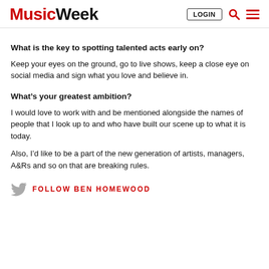Music Week | LOGIN
What is the key to spotting talented acts early on?
Keep your eyes on the ground, go to live shows, keep a close eye on social media and sign what you love and believe in.
What’s your greatest ambition?
I would love to work with and be mentioned alongside the names of people that I look up to and who have built our scene up to what it is today.
Also, I’d like to be a part of the new generation of artists, managers, A&Rs and so on that are breaking rules.
FOLLOW BEN HOMEWOOD